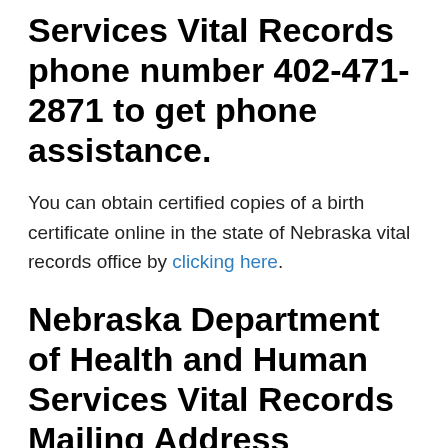Services Vital Records phone number 402-471-2871 to get phone assistance.
You can obtain certified copies of a birth certificate online in the state of Nebraska vital records office by clicking here.
Nebraska Department of Health and Human Services Vital Records Mailing Address